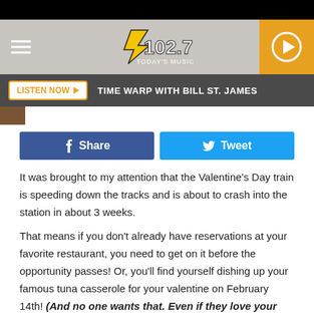[Figure (screenshot): B102.7 radio station logo with yellow and black lettering]
LISTEN NOW ▶  TIME WARP WITH BILL ST. JAMES
[Figure (infographic): Facebook Share button (blue) and Twitter Tweet button (light blue)]
It was brought to my attention that the Valentine's Day train is speeding down the tracks and is about to crash into the station in about 3 weeks.
That means if you don't already have reservations at your favorite restaurant, you need to get on it before the opportunity passes! Or, you'll find yourself dishing up your famous tuna casserole for your valentine on February 14th! (And no one wants that. Even if they love your tuna